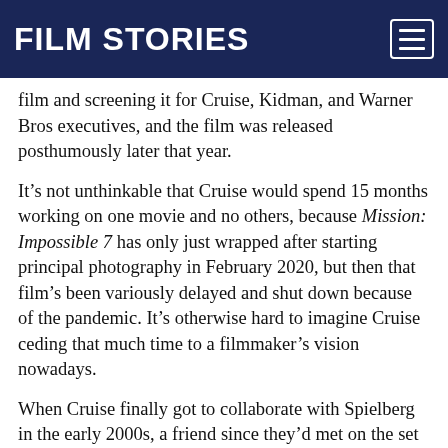FILM STORIES
film and screening it for Cruise, Kidman, and Warner Bros executives, and the film was released posthumously later that year.
It’s not unthinkable that Cruise would spend 15 months working on one movie and no others, because Mission: Impossible 7 has only just wrapped after starting principal photography in February 2020, but then that film’s been variously delayed and shut down because of the pandemic. It’s otherwise hard to imagine Cruise ceding that much time to a filmmaker’s vision nowadays.
When Cruise finally got to collaborate with Spielberg in the early 2000s, a friend since they’d met on the set of Risky Business, it was on two films with quick production turnarounds – Minority Report and War Of The Worlds. Although Cruise didn’t produce either film, I distinctly remember Empire Magazine’s cover